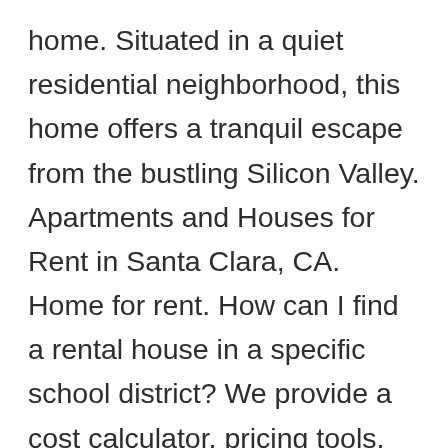home. Situated in a quiet residential neighborhood, this home offers a tranquil escape from the bustling Silicon Valley. Apartments and Houses for Rent in Santa Clara, CA. Home for rent. How can I find a rental house in a specific school district? We provide a cost calculator, pricing tools, and more so you'll know exactly what it will cost to live in the city you love. We have 66 properties for rent listed as house private owner santa clara county ca, from just $1,895. Maybe you're tired of apartment living, maybe you want more space, or maybe you've just always dreamed of living in a house. Overall, 65 % of